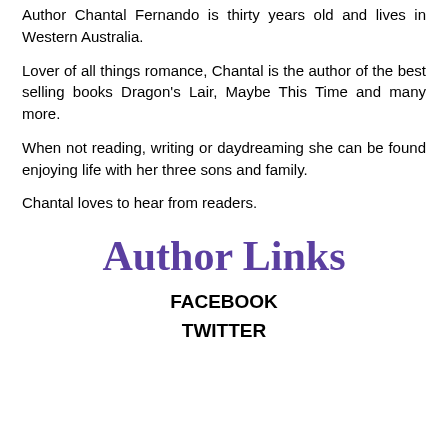Author Chantal Fernando is thirty years old and lives in Western Australia.
Lover of all things romance, Chantal is the author of the best selling books Dragon's Lair, Maybe This Time and many more.
When not reading, writing or daydreaming she can be found enjoying life with her three sons and family.
Chantal loves to hear from readers.
Author Links
FACEBOOK
TWITTER